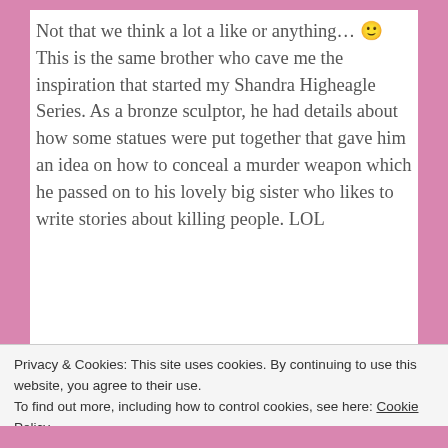Not that we think a lot a like or anything… 🙂 This is the same brother who cave me the inspiration that started my Shandra Higheagle Series. As a bronze sculptor, he had details about how some statues were put together that gave him an idea on how to conceal a murder weapon which he passed on to his lovely big sister who likes to write stories about killing people. LOL
[Figure (photo): Outdoor photo showing a rural or ranch setting with green trees, wooden fence posts, and a covered structure or shelter in the background under a blue sky.]
How he
Privacy & Cookies: This site uses cookies. By continuing to use this website, you agree to their use. To find out more, including how to control cookies, see here: Cookie Policy
Close and accept